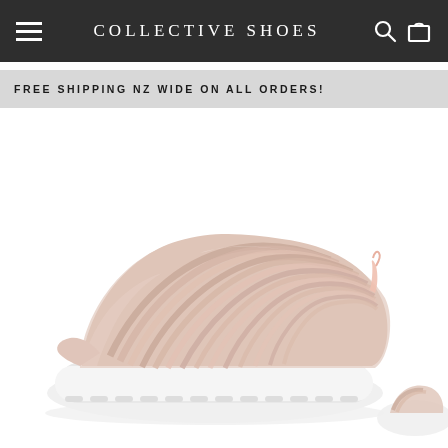COLLECTIVE SHOES
FREE SHIPPING NZ WIDE ON ALL ORDERS!
[Figure (photo): A rose gold/blush pink slip-on sneaker with striped elastic bands across the upper and a white sole, displayed on a white background. Partially visible second shoe in the bottom right corner.]